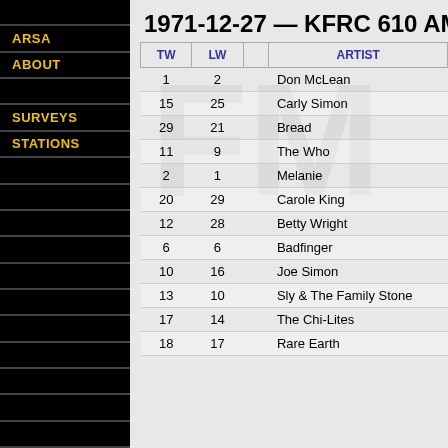1971-12-27 — KFRC 610 AM
ARSA
ABOUT
SURVEYS
STATIONS
| TW | LW |  | ARTIST |
| --- | --- | --- | --- |
| 1 | 2 |  | Don McLean |
| 15 | 25 |  | Carly Simon |
| 29 | 21 |  | Bread |
| 11 | 9 |  | The Who |
| 2 | 1 |  | Melanie |
| 20 | 29 |  | Carole King |
| 12 | 28 |  | Betty Wright |
| 6 | 6 |  | Badfinger |
| 10 | 16 |  | Joe Simon |
| 13 | 10 |  | Sly & The Family Stone |
| 17 | 14 |  | The Chi-Lites |
| 18 | 17 |  | Rare Earth |